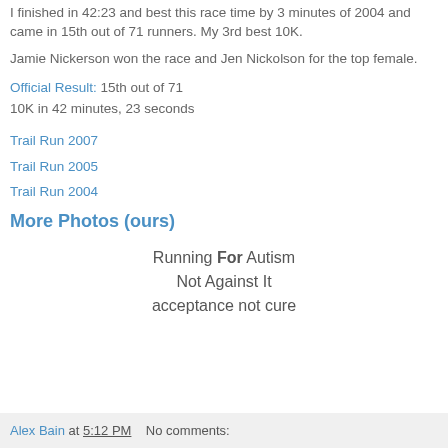I finished in 42:23 and best this race time by 3 minutes of 2004 and came in 15th out of 71 runners. My 3rd best 10K.
Jamie Nickerson won the race and Jen Nickolson for the top female.
Official Result: 15th out of 71
10K in 42 minutes, 23 seconds
Trail Run 2007
Trail Run 2005
Trail Run 2004
More Photos (ours)
Running For Autism
Not Against It
acceptance not cure
Alex Bain at 5:12 PM   No comments: